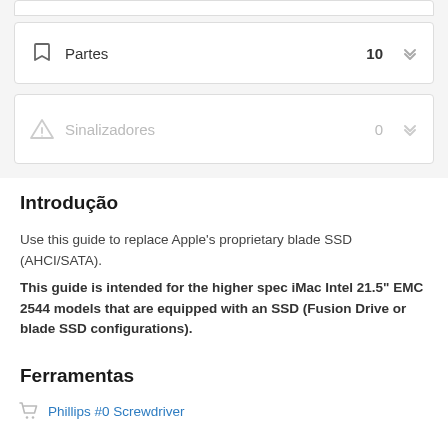Partes  10
Sinalizadores  0
Introdução
Use this guide to replace Apple's proprietary blade SSD (AHCI/SATA).
This guide is intended for the higher spec iMac Intel 21.5" EMC 2544 models that are equipped with an SSD (Fusion Drive or blade SSD configurations).
Ferramentas
Phillips #0 Screwdriver